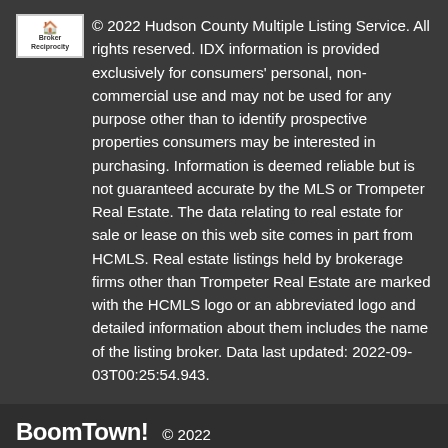© 2022 Hudson County Multiple Listing Service. All rights reserved. IDX information is provided exclusively for consumers' personal, non-commercial use and may not be used for any purpose other than to identify prospective properties consumers may be interested in purchasing. Information is deemed reliable but is not guaranteed accurate by the MLS or Trompeter Real Estate. The data relating to real estate for sale or lease on this web site comes in part from HCMLS. Real estate listings held by brokerage firms other than Trompeter Real Estate are marked with the HCMLS logo or an abbreviated logo and detailed information about them includes the name of the listing broker. Data last updated: 2022-09-03T00:25:54.943.
BoomTown! © 2022
Terms of Use | Privacy Policy | Accessibility | DMCA | Listings Sitemap
Take a Tour
Ask A Question